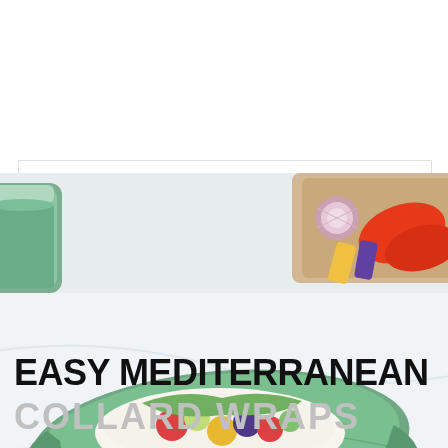[Figure (photo): Two collard green wraps stacked on top of each other, filled with colorful Mediterranean vegetables including tomatoes, cucumbers, and other veggies with a white sauce. Background shows a green smoothie jar and a wooden cutting board with vegetables.]
EASY MEDITERRANEAN COLLARD WRAPS